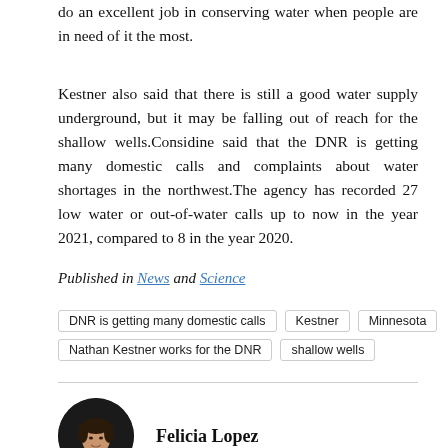do an excellent job in conserving water when people are in need of it the most.
Kestner also said that there is still a good water supply underground, but it may be falling out of reach for the shallow wells.Considine said that the DNR is getting many domestic calls and complaints about water shortages in the northwest.The agency has recorded 27 low water or out-of-water calls up to now in the year 2021, compared to 8 in the year 2020.
Published in News and Science
DNR is getting many domestic calls
Kestner
Minnesota
Nathan Kestner works for the DNR
shallow wells
Felicia Lopez